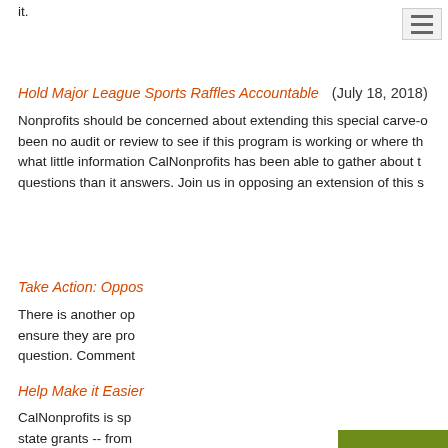it.
Hold Major League Sports Raffles Accountable  (July 18, 2018)
Nonprofits should be concerned about extending this special carve-out. There has been no audit or review to see if this program is working or where the money goes, and what little information CalNonprofits has been able to gather about the program raises more questions than it answers. Join us in opposing an extension of this special exemption.
Take Action: Oppos...
There is another op... ensure they are pro... question. Comment...
Help Make it Easier...
CalNonprofits is sp... state grants -- from... would enable nonpr... add your support fo...
[Figure (infographic): Green popup panel with a newsletter/envelope icon and text: Stay informed on nonprofits news in California. We'll send you information about events and webinars, tips & tools, and legislation impacting the nonprofit community.]